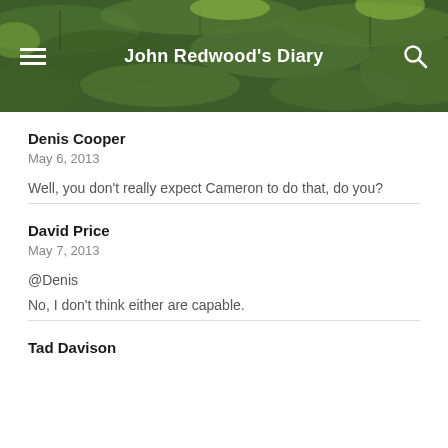John Redwood's Diary
Denis Cooper
May 6, 2013
Well, you don't really expect Cameron to do that, do you?
David Price
May 7, 2013
@Denis
No, I don't think either are capable.
Tad Davison